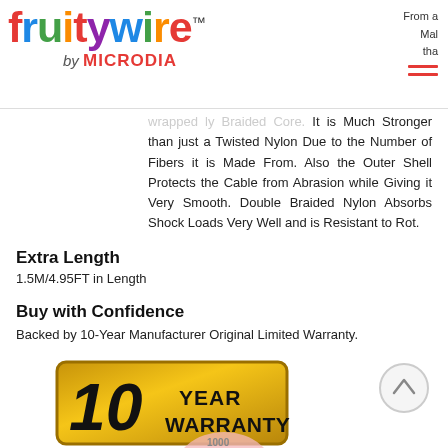[Figure (logo): FruityWire by MICRODIA logo with multicolored letters and TM symbol]
wrapped...ly Braided Core. It is Much Stronger than just a Twisted Nylon Due to the Number of Fibers it is Made From. Also the Outer Shell Protects the Cable from Abrasion while Giving it Very Smooth. Double Braided Nylon Absorbs Shock Loads Very Well and is Resistant to Rot.
Extra Length
1.5M/4.95FT in Length
Buy with Confidence
Backed by 10-Year Manufacturer Original Limited Warranty.
[Figure (illustration): 10 YEAR WARRANTY badge in gold/black colors]
[Figure (illustration): Partial pink circle at bottom of page]